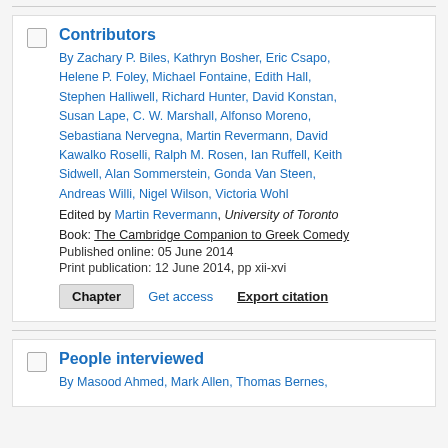Contributors
By Zachary P. Biles, Kathryn Bosher, Eric Csapo, Helene P. Foley, Michael Fontaine, Edith Hall, Stephen Halliwell, Richard Hunter, David Konstan, Susan Lape, C. W. Marshall, Alfonso Moreno, Sebastiana Nervegna, Martin Revermann, David Kawalko Roselli, Ralph M. Rosen, Ian Ruffell, Keith Sidwell, Alan Sommerstein, Gonda Van Steen, Andreas Willi, Nigel Wilson, Victoria Wohl
Edited by Martin Revermann, University of Toronto
Book: The Cambridge Companion to Greek Comedy
Published online: 05 June 2014
Print publication: 12 June 2014, pp xii-xvi
People interviewed
By Masood Ahmed, Mark Allen, Thomas Bernes,